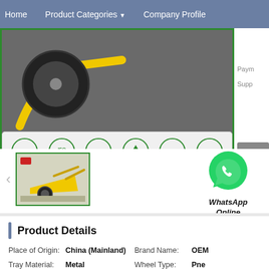Home   Product Categories ▼   Company Profile
[Figure (photo): Product image showing a yellow wheelbarrow with black tire on gray background, inside a green border frame with certification icons (OEM, ISO, CE, recycling, E1, GS) displayed at the bottom]
[Figure (photo): Thumbnail image of yellow wheelbarrow product]
[Figure (logo): WhatsApp green icon with phone symbol, labeled 'WhatsApp Online']
Product Details
Place of Origin: China (Mainland)
Brand Name: OEM
Tray Material: Metal
Wheel Type: Pne
Water Capacity: 65L
Sand Capacity: 5 C